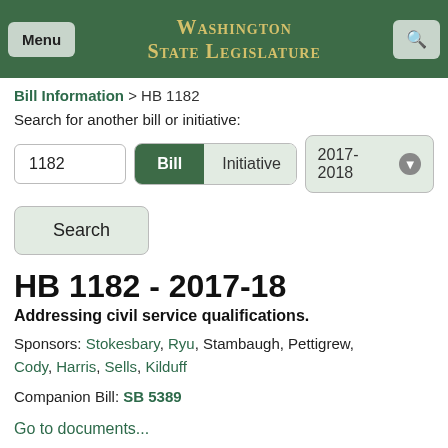Washington State Legislature
Bill Information > HB 1182
Search for another bill or initiative:
1182  |  Bill  |  Initiative  |  2017-2018
Search
HB 1182 - 2017-18
Addressing civil service qualifications.
Sponsors: Stokesbary, Ryu, Stambaugh, Pettigrew, Cody, Harris, Sells, Kilduff
Companion Bill: SB 5389
Go to documents...
Go to videos...